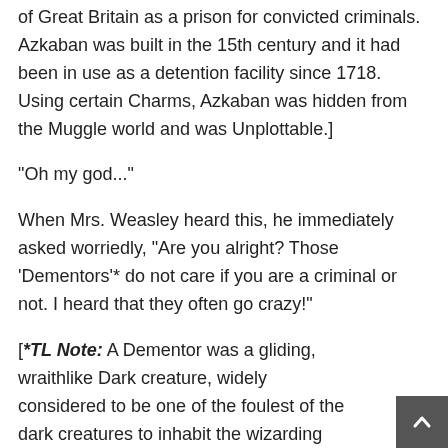of Great Britain as a prison for convicted criminals. Azkaban was built in the 15th century and it had been in use as a detention facility since 1718. Using certain Charms, Azkaban was hidden from the Muggle world and was Unplottable.]
“Oh my god...”
When Mrs. Weasley heard this, he immediately asked worriedly, “Are you alright? Those ‘Dementors’* do not care if you are a criminal or not. I heard that they often go crazy!”
[*TL Note: A Dementor was a gliding, wraithlike Dark creature, widely considered to be one of the foulest of the dark creatures to inhabit the wizarding world. Dementors